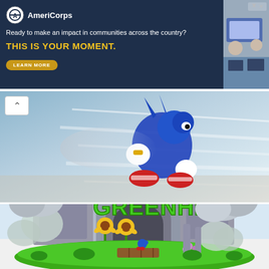[Figure (photo): AmeriCorps advertisement banner with dark navy background. Logo with circular emblem and 'AmeriCorps' text. Text reads: 'Ready to make an impact in communities across the country?' and 'THIS IS YOUR MOMENT.' with a 'LEARN MORE' button. Right side shows photo of students at computers.]
[Figure (screenshot): Sonic the Hedgehog character running, blue hedgehog with speed blur effect, light blue/grey background, up-arrow navigation button visible top-left.]
[Figure (screenshot): Sonic the Hedgehog Green Hill Zone level screenshot showing 3D render of green hill area with stone architecture, sunflowers, 'GREENHILL' text in bright green, Sonic character standing on wooden platform, grassy terrain.]